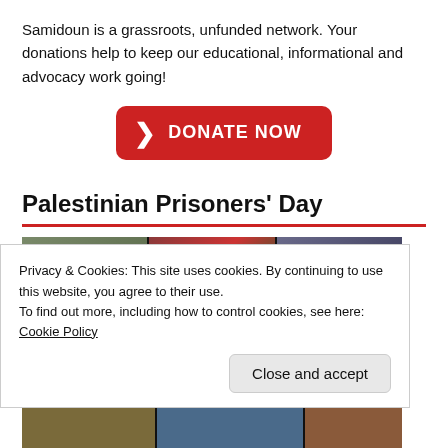Samidoun is a grassroots, unfunded network. Your donations help to keep our educational, informational and advocacy work going!
[Figure (other): Red donate button with chevron arrow and text DONATE NOW]
Palestinian Prisoners' Day
[Figure (photo): Photo strip showing protest/rally images related to Palestinian Prisoners' Day]
Privacy & Cookies: This site uses cookies. By continuing to use this website, you agree to their use.
To find out more, including how to control cookies, see here: Cookie Policy
Close and accept